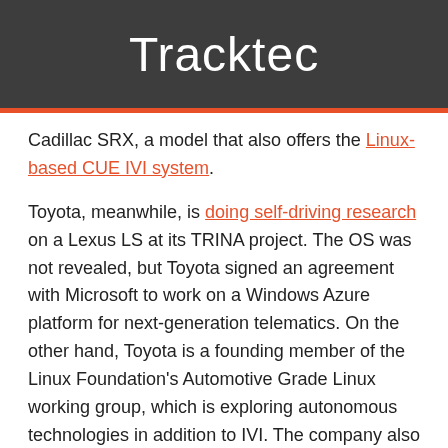Tracktec
Cadillac SRX, a model that also offers the Linux-based CUE IVI system.
Toyota, meanwhile, is doing self-driving research on a Lexus LS at its TRINA project. The OS was not revealed, but Toyota signed an agreement with Microsoft to work on a Windows Azure platform for next-generation telematics. On the other hand, Toyota is a founding member of the Linux Foundation's Automotive Grade Linux working group, which is exploring autonomous technologies in addition to IVI. The company also recently unveiled the Toyota Lexus IS, which includes a Linux-based IVI system.